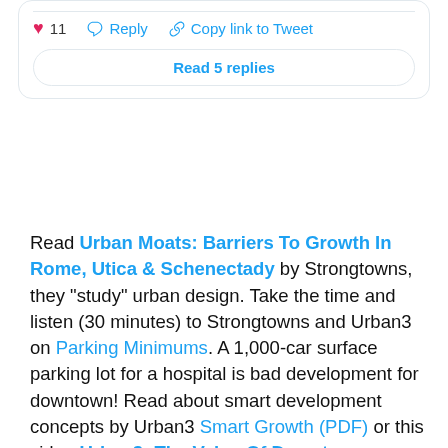[Figure (screenshot): Twitter/social media tweet card showing like count (11), Reply button, Copy link to Tweet button, and Read 5 replies button]
Read Urban Moats: Barriers To Growth In Rome, Utica & Schenectady by Strongtowns, they "study" urban design. Take the time and listen (30 minutes) to Strongtowns and Urban3 on Parking Minimums. A 1,000-car surface parking lot for a hospital is bad development for downtown! Read about smart development concepts by Urban3 Smart Growth (PDF) or this video Urban3: The Value Of Downtown. Further, Upstate's very own Arian Horbovetz with his The Big Urban Mistake: Building For